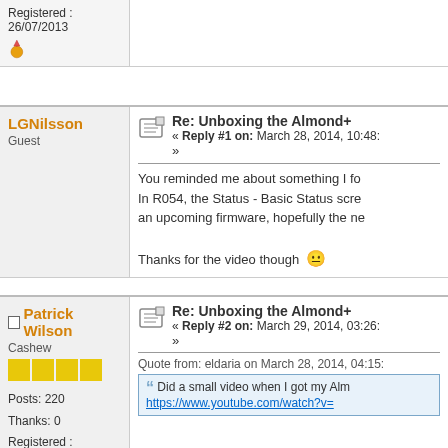Registered : 26/07/2013
[Figure (other): Row of gold medal/badge icons]
LGNilsson
Guest
Re: Unboxing the Almond+
« Reply #1 on: March 28, 2014, 10:48:
You reminded me about something I fo
In R054, the Status - Basic Status scre
an upcoming firmware, hopefully the ne

Thanks for the video though 😐
Patrick Wilson
Cashew
[Figure (other): Row of 4 yellow squares (rank indicators)]
Posts: 220
Thanks: 0
Registered : 21/07/2013
Re: Unboxing the Almond+
« Reply #2 on: March 29, 2014, 03:26:
Quote from: eldaria on March 28, 2014, 04:15:
Did a small video when I got my Alm
https://www.youtube.com/watch?v=
[Figure (other): Row of gold medal/badge icons]